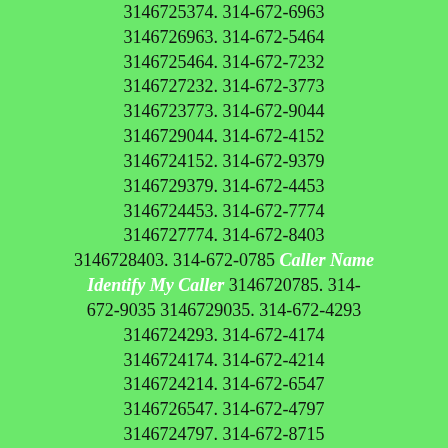3146725374. 314-672-6963 3146726963. 314-672-5464 3146725464. 314-672-7232 3146727232. 314-672-3773 3146723773. 314-672-9044 3146729044. 314-672-4152 3146724152. 314-672-9379 3146729379. 314-672-4453 3146724453. 314-672-7774 3146727774. 314-672-8403 3146728403. 314-672-0785 Caller Name Identify My Caller 3146720785. 314-672-9035 3146729035. 314-672-4293 3146724293. 314-672-4174 3146724174. 314-672-4214 3146724214. 314-672-6547 3146726547. 314-672-4797 3146724797. 314-672-8715 3146728715. 314-672-0414 Caller Name Identify My Caller 3146720414. 314-672-1264 3146721264. 314-672-7388 3146727388. 314-672-3803 3146723803. 314-672-2987 3146722987. 314-672-2641 3146722641. 314-672-4865 3146724865. 314-672-1773